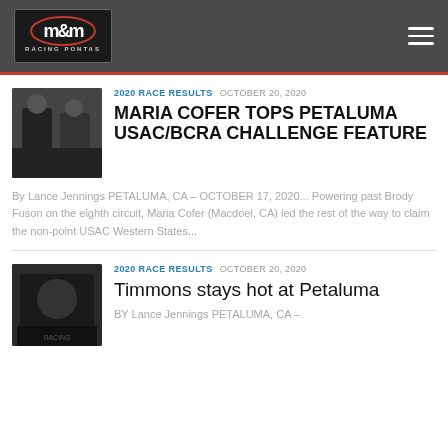M&M Racing Pontas
2020 RACE RESULTS   OCTOBER 20, 2020
MARIA COFER TOPS PETALUMA USAC/BCRA CHALLENGE FEATURE
By Lance Jennings PETALUMA, CA – OCTOBER 17, 2020... Powering past Brody Fuson on the eighth circuit, Maria Cofer (Macdoel, CA) led the rest of the way to claim the non-point USAC Western States...
2020 RACE RESULTS   OCTOBER 20, 2020
Timmons stays hot at Petaluma
BY Lance Jennings PETALUMA, CA –